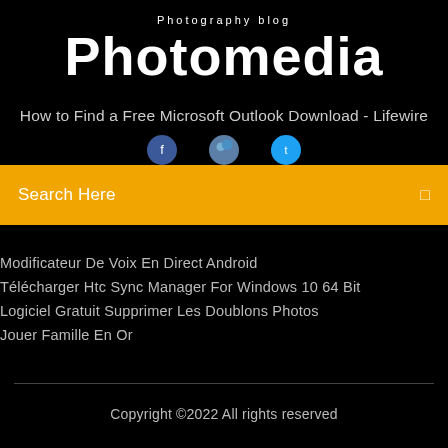Photography blog
Photomedia
How to Find a Free Microsoft Outlook Download - Lifewire
[Figure (illustration): Three overlapping social media icon circles (Facebook, Twitter, LinkedIn) partially visible at bottom of black section]
Search Here
Modificateur De Voix En Direct Android
Télécharger Htc Sync Manager For Windows 10 64 Bit
Logiciel Gratuit Supprimer Les Doublons Photos
Jouer Famille En Or
Copyright ©2022 All rights reserved